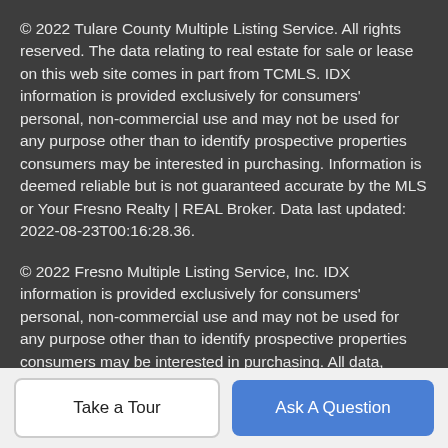© 2022 Tulare County Multiple Listing Service. All rights reserved. The data relating to real estate for sale or lease on this web site comes in part from TCMLS. IDX information is provided exclusively for consumers' personal, non-commercial use and may not be used for any purpose other than to identify prospective properties consumers may be interested in purchasing. Information is deemed reliable but is not guaranteed accurate by the MLS or Your Fresno Realty | REAL Broker. Data last updated: 2022-08-23T00:16:28.36.
© 2022 Fresno Multiple Listing Service, Inc. IDX information is provided exclusively for consumers' personal, non-commercial use and may not be used for any purpose other than to identify prospective properties consumers may be interested in purchasing. All data, including all measurements and calculations of area, is obtained from various sources and has not been, and will not be, verified by broker or MLS. All information should be independently reviewed and verified for accuracy. Properties may
Take a Tour
Ask A Question